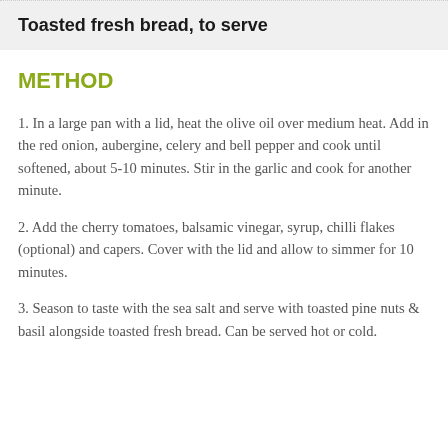Toasted fresh bread, to serve
METHOD
1. In a large pan with a lid, heat the olive oil over medium heat. Add in the red onion, aubergine, celery and bell pepper and cook until softened, about 5-10 minutes. Stir in the garlic and cook for another minute.
2. Add the cherry tomatoes, balsamic vinegar, syrup, chilli flakes (optional) and capers. Cover with the lid and allow to simmer for 10 minutes.
3. Season to taste with the sea salt and serve with toasted pine nuts & basil alongside toasted fresh bread. Can be served hot or cold.